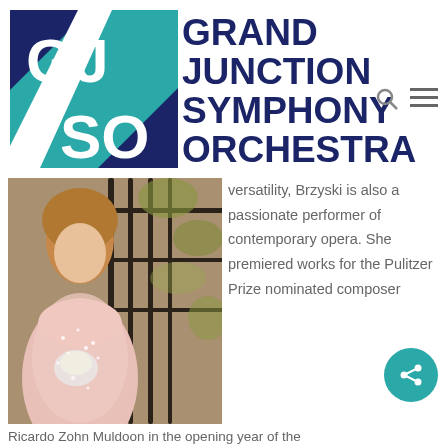[Figure (logo): GJSO logo — blue and teal square with letters GJ/SO and diagonal slash]
GRAND JUNCTION SYMPHONY ORCHESTRA
[Figure (photo): Woman in pink sequined off-shoulder gown holding small bouquet, standing near ornate black iron gate with foliage in background]
versatility, Brzyski is also a passionate performer of contemporary opera. She premiered works for the Pulitzer Prize nominated composer
Ricardo Zohn Muldoon in the opening year of the